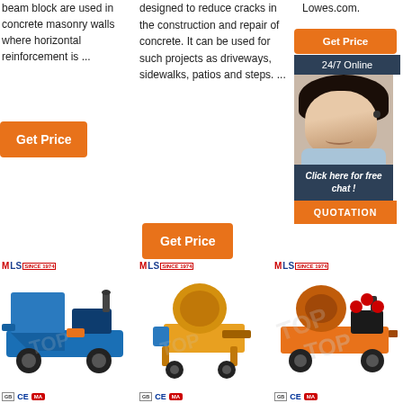beam block are used in concrete masonry walls where horizontal reinforcement is ...
[Figure (other): Orange 'Get Price' button in column 1]
designed to reduce cracks in the construction and repair of concrete. It can be used for such projects as driveways, sidewalks, patios and steps. ...
[Figure (other): Orange 'Get Price' button in column 2]
Lowes.com.
[Figure (other): Chat widget with Get Price button, 24/7 Online banner, customer service photo, Click here for free chat, and QUOTATION button]
[Figure (photo): Blue and orange concrete pump machine with wheels and motor, MLS logo above]
[Figure (photo): Yellow concrete spray/shotcrete machine, MLS logo above]
[Figure (photo): Orange and black concrete mixing machine with TOP watermark, MLS logo above]